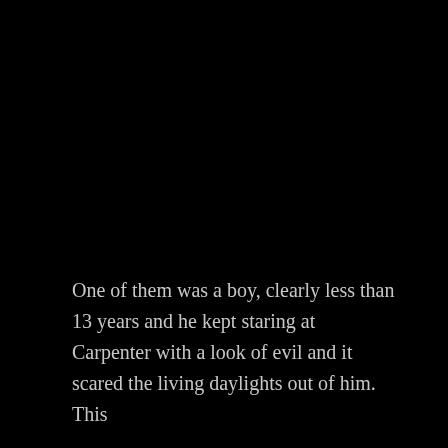One of them was a boy, clearly less than 13 years and he kept staring at Carpenter with a look of evil and it scared the living daylights out of him. This